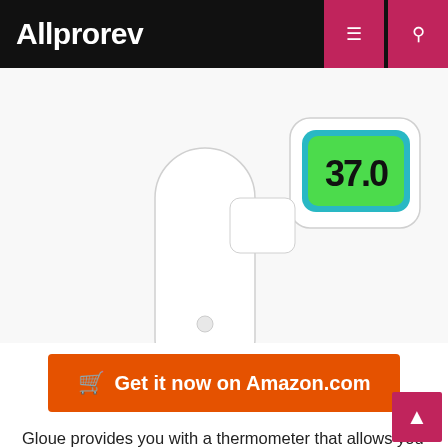Allprorev
[Figure (photo): Infrared non-contact thermometer with white body, teal accents at the base, showing a green-lit LCD display reading '37.0' degrees.]
🛒  Get it now on Amazon.com
Gloue provides you with a thermometer that allows you to measure the temperature of individuals and objects from a safe distance. You don't need to get close. Just point towards an object or someone's forehead and read the